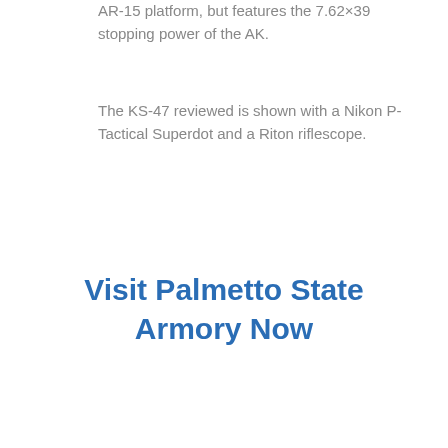AR-15 platform, but features the 7.62×39 stopping power of the AK.
The KS-47 reviewed is shown with a Nikon P-Tactical Superdot and a Riton riflescope.
Visit Palmetto State Armory Now